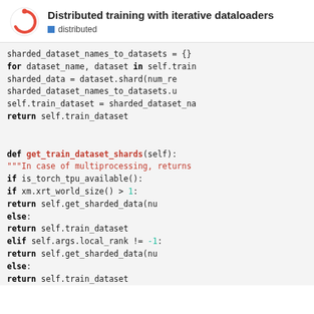Distributed training with iterative dataloaders
distributed
[Figure (screenshot): Code snippet showing Python methods for distributed dataset sharding and get_train_dataset_shards function.]